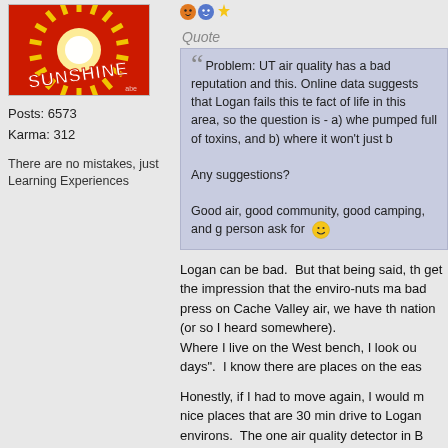[Figure (illustration): User avatar image with red and yellow sunburst design and white text reading 'SUNSHINE']
Posts: 6573
Karma: 312
There are no mistakes, just Learning Experiences
[Figure (illustration): Small emoji/icon row]
Quote
Problem: UT air quality has a bad reputation and this. Online data suggests that Logan fails this te fact of life in this area, so the question is - a) whe pumped full of toxins, and b) where it won't just b

Any suggestions?

Good air, good community, good camping, and g person ask for 🙂
Logan can be bad.  But that being said, th get the impression that the enviro-nuts ma bad press on Cache Valley air, we have th nation (or so I heard somewhere).
Where I live on the West bench, I look ou days".  I know there are places on the eas
Honestly, if I had to move again, I would m nice places that are 30 min drive to Logan environs.  The one air quality detector in B Brigham City, so they will tell you that BE you can be better informed.